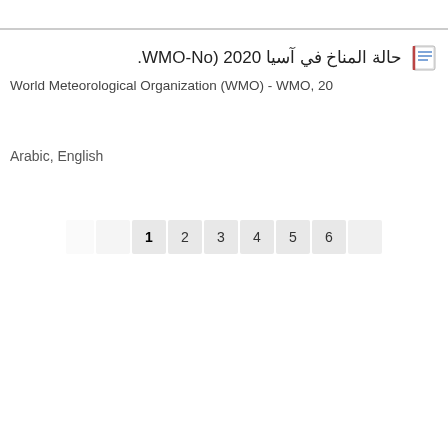حالة المناخ في آسيا 2020 (WMO-No.
World Meteorological Organization (WMO) - WMO, 20
Arabic, English
Pagination: 1 2 3 4 5 6